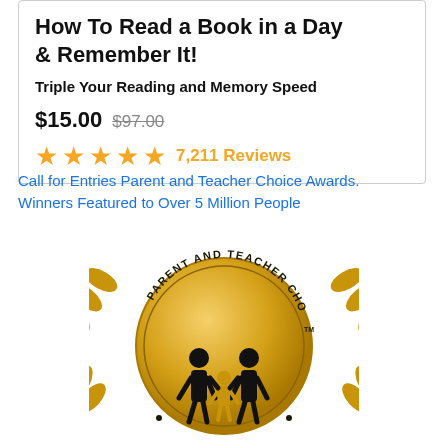How To Read a Book in a Day & Remember It!
Triple Your Reading and Memory Speed
$15.00  $97.00
★★★★★ 7,211 Reviews
Call for Entries Parent and Teacher Choice Awards. Winners Featured to Over 5 Million People
[Figure (logo): Parent and Teacher Choice award medallion — a gold circular badge with laurel branches on both sides, text reading PARENT AND TEACHER CHOICE around the top arc, and a black silhouette icon of two adults holding hands with a child between them in the center.]